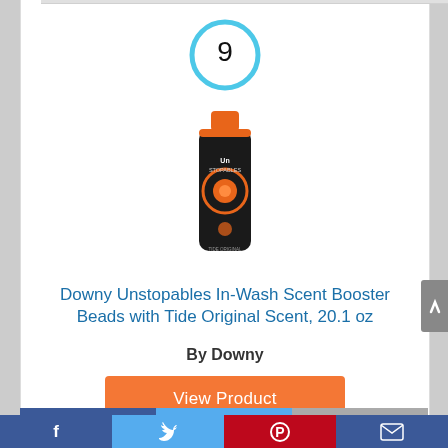[Figure (other): Rank number 9 inside a light blue circle]
[Figure (photo): Downy Unstopables In-Wash Scent Booster Beads product bottle with orange cap and black body]
Downy Unstopables In-Wash Scent Booster Beads with Tide Original Scent, 20.1 oz
By Downy
View Product
Facebook | Twitter | Pinterest | Email